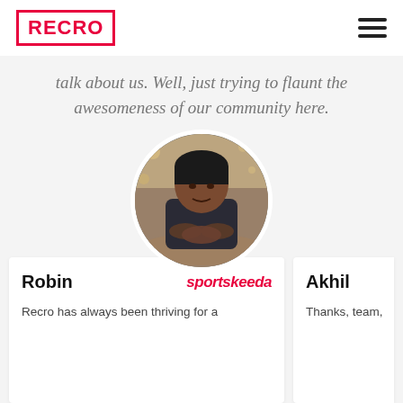RECRO
talk about us. Well, just trying to flaunt the awesomeness of our community here.
[Figure (photo): Circular profile photo of a man sitting at a table with hands clasped, in a restaurant or cafe setting.]
Robin sportskeeda Recro has always been thriving for a
Akhil Thanks, team,